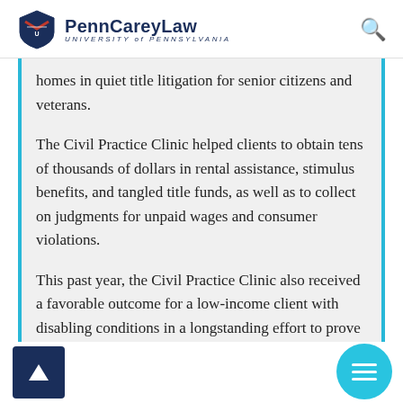Penn Carey Law — University of Pennsylvania
homes in quiet title litigation for senior citizens and veterans.
The Civil Practice Clinic helped clients to obtain tens of thousands of dollars in rental assistance, stimulus benefits, and tangled title funds, as well as to collect on judgments for unpaid wages and consumer violations.
This past year, the Civil Practice Clinic also received a favorable outcome for a low-income client with disabling conditions in a longstanding effort to prove eligibility for SSI benefits. Students appealed the client's